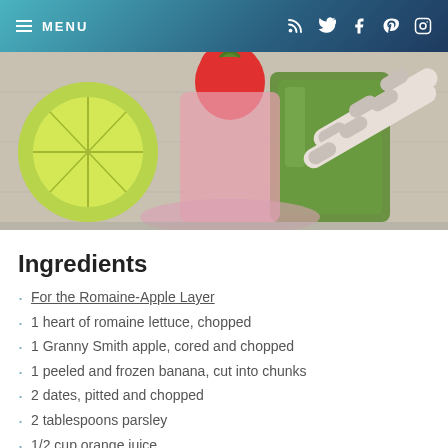MENU
[Figure (photo): Photo of green smoothie in a glass with striped paper straws, a lime wedge and strawberry on a wooden surface]
Ingredients
For the Romaine-Apple Layer
1 heart of romaine lettuce, chopped
1 Granny Smith apple, cored and chopped
1 peeled and frozen banana, cut into chunks
2 dates, pitted and chopped
2 tablespoons parsley
1/2 cup orange juice
Juice from 1 lime
For the Strawberry-Rhubarb Layer